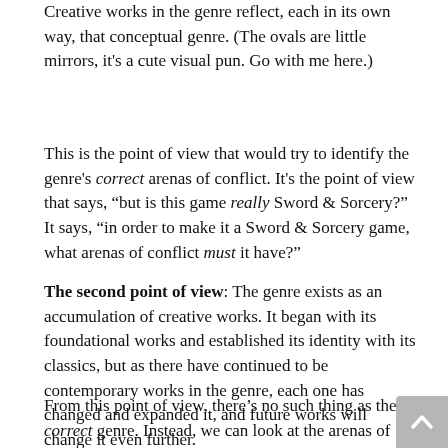Creative works in the genre reflect, each in its own way, that conceptual genre. (The ovals are little mirrors, it's a cute visual pun. Go with me here.)
This is the point of view that would try to identify the genre's correct arenas of conflict. It's the point of view that says, “but is this game really Sword & Sorcery?” It says, “in order to make it a Sword & Sorcery game, what arenas of conflict must it have?”
The second point of view: The genre exists as an accumulation of creative works. It began with its foundational works and established its identity with its classics, but as there have continued to be contemporary works in the genre, each one has changed and expanded it, and future works will change it even further.
From this point of view, there’s no such thing as the correct genre. Instead, we can look at the arenas of conflict that the genre has historically included, but we can also think about where the genre’s going next and